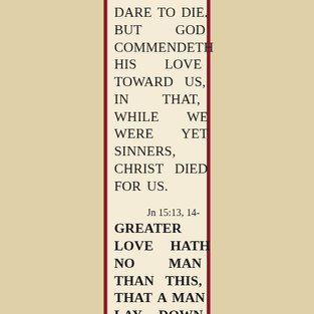DARE TO DIE. BUT GOD COMMENDETH HIS LOVE TOWARD US, IN THAT, WHILE WE WERE YET SINNERS, CHRIST DIED FOR US.
Jn 15:13, 14-
GREATER LOVE HATH NO MAN THAN THIS, THAT A MAN LAY DOWN HIS LIFE FOR HIS FRIENDS.